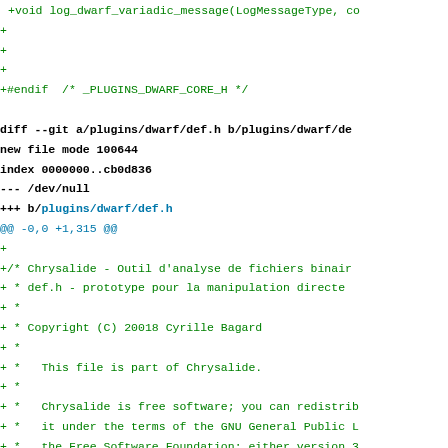Source code diff showing additions to plugins/dwarf/def.h file including copyright header and license information for Chrysalide project.